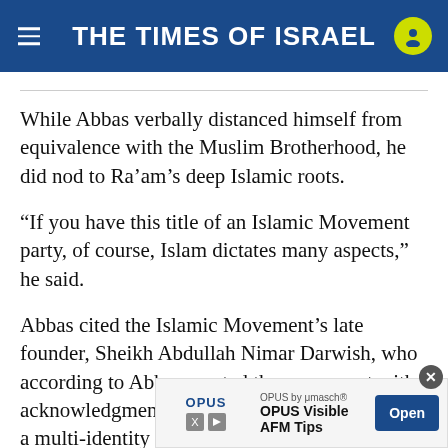THE TIMES OF ISRAEL
While Abbas verbally distanced himself from equivalence with the Muslim Brotherhood, he did nod to Ra’am’s deep Islamic roots.
“If you have this title of an Islamic Movement party, of course, Islam dictates many aspects,” he said.
Abbas cited the Islamic Movement’s late founder, Sheikh Abdullah Nimar Darwish, who according to Abbas created the movement with acknowledgment of the complexity of living in a multi-identity societ…
[Figure (screenshot): Advertisement banner for OPUS Visible AFM Tips by μmasch with Open button]